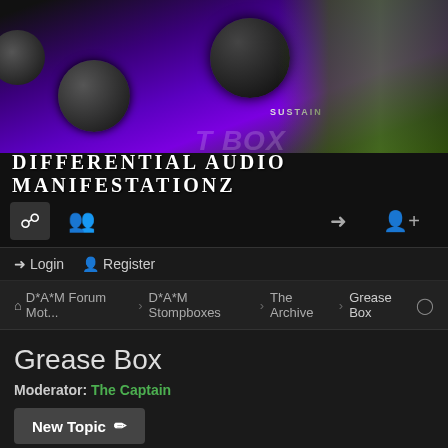[Figure (photo): Banner image showing a purple guitar effects pedal (Grease Box) with two black knobs, labeled SUSTAIN, overlaid with the forum title text. A woman is partially visible on the right side against a green background.]
DIFFERENTIAL AUDIO MANIFESTATIONZ
[Figure (screenshot): Navigation bar with forum icons (chat bubble, group), and login/register icons on the right]
Login  Register
D*A*M Forum Mot... › D*A*M Stompboxes › The Archive › Grease Box
Grease Box
Moderator: The Captain
New Topic ✏
16 topics • Page 1 of 1
Topics
GB-88
Last post by Space_Case « Mon May 06, 2019 1:56 pm